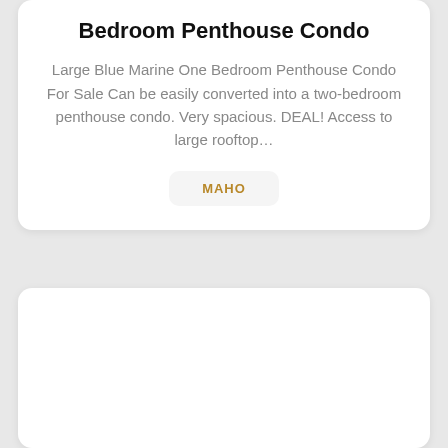Bedroom Penthouse Condo
Large Blue Marine One Bedroom Penthouse Condo For Sale Can be easily converted into a two-bedroom penthouse condo. Very spacious. DEAL! Access to large rooftop…
MAHO
[Figure (photo): Exterior photo of a vacation rental property — a Mediterranean-style building with terracotta roof, white columns, arched entryway, warm-toned stucco facade, and lush green trees in the background. A 'VACATION RENTAL' badge is overlaid on the upper right of the image.]